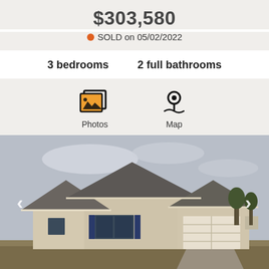$303,580
SOLD on 05/02/2022
3 bedrooms   2 full bathrooms
[Figure (infographic): Photos and Map icon buttons with labels]
[Figure (photo): Exterior photo of a single-story brick ranch-style house with gray shingle roof, two-car garage, and overcast sky]